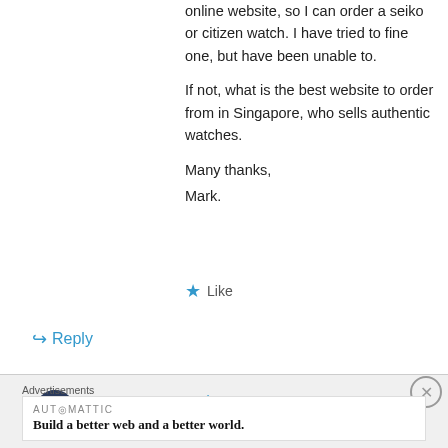online website, so I can order a seiko or citizen watch. I have tried to fine one, but have been unable to.
If not, what is the best website to order from in Singapore, who sells authentic watches.
Many thanks,
Mark.
★ Like
↳ Reply
Yeoman on September 28, 2015 at 8:45 AM
Advertisements
AUTOMATTIC
Build a better web and a better world.